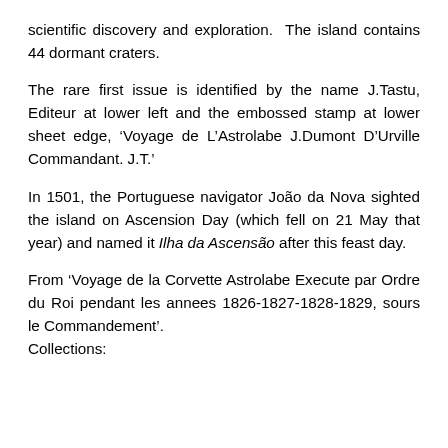scientific discovery and exploration. The island contains 44 dormant craters.
The rare first issue is identified by the name J.Tastu, Editeur at lower left and the embossed stamp at lower sheet edge, ‘Voyage de L’Astrolabe J.Dumont D’Urville Commandant. J.T.’
In 1501, the Portuguese navigator João da Nova sighted the island on Ascension Day (which fell on 21 May that year) and named it Ilha da Ascensão after this feast day.
From ‘Voyage de la Corvette Astrolabe Execute par Ordre du Roi pendant les annees 1826-1827-1828-1829, sours le Commandement’.
Collections: